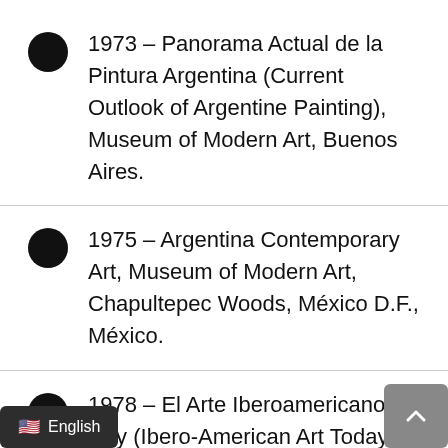1973 – Panorama Actual de la Pintura Argentina (Current Outlook of Argentine Painting), Museum of Modern Art, Buenos Aires.
1975 – Argentina Contemporary Art, Museum of Modern Art, Chapultepec Woods, México D.F., México.
1978 – El Arte Iberoamericano de Hoy (Ibero-American Art Today). First Ibero-American Meeting of Critics and Plastic Artists, Museum of Fine Arts, s, Venezuela.